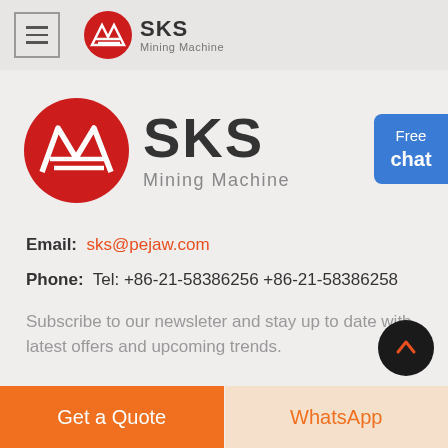SKS Mining Machine (header navigation)
[Figure (logo): SKS Mining Machine logo - red circle with stylized M/E letters, text SKS Mining Machine]
Email: sks@pejaw.com
Phone: Tel: +86-21-58386256 +86-21-58386258
Subscribe to our newsleter and stay up to date with latest offers and upcoming trends.
Get a Quote | WhatsApp